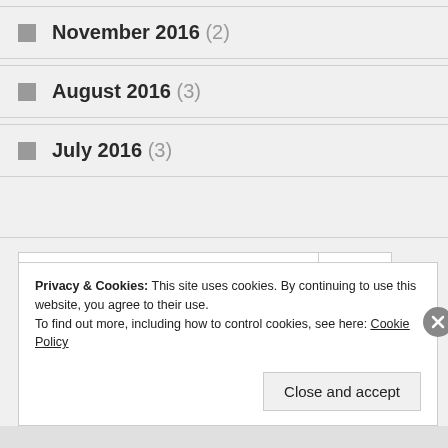November 2016 (2)
August 2016 (3)
July 2016 (3)
Search
Privacy & Cookies: This site uses cookies. By continuing to use this website, you agree to their use.
To find out more, including how to control cookies, see here: Cookie Policy
Close and accept